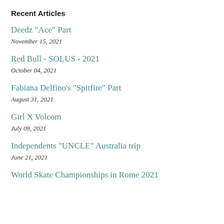Recent Articles
Deedz "Ace" Part
November 15, 2021
Red Bull - SOLUS - 2021
October 04, 2021
Fabiana Delfino's "Spitfire" Part
August 31, 2021
Girl X Volcom
July 09, 2021
Independents "UNCLE" Australia trip
June 21, 2021
World Skate Championships in Rome 2021